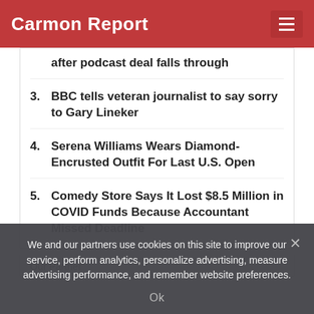Carmon Report
after podcast deal falls through
3. BBC tells veteran journalist to say sorry to Gary Lineker
4. Serena Williams Wears Diamond-Encrusted Outfit For Last U.S. Open
5. Comedy Store Says It Lost $8.5 Million in COVID Funds Because Accountant Missed Deadline
Our Partner
We and our partners use cookies on this site to improve our service, perform analytics, personalize advertising, measure advertising performance, and remember website preferences.
Ok